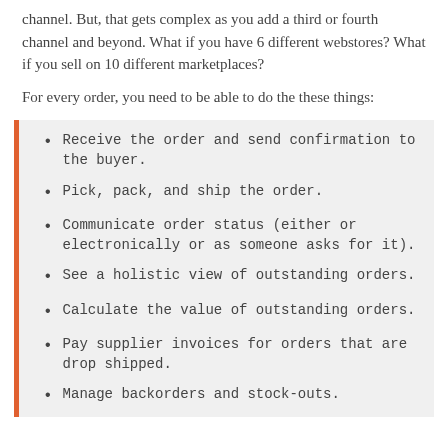channel. But, that gets complex as you add a third or fourth channel and beyond. What if you have 6 different webstores? What if you sell on 10 different marketplaces?
For every order, you need to be able to do the these things:
Receive the order and send confirmation to the buyer.
Pick, pack, and ship the order.
Communicate order status (either or electronically or as someone asks for it).
See a holistic view of outstanding orders.
Calculate the value of outstanding orders.
Pay supplier invoices for orders that are drop shipped.
Manage backorders and stock-outs.